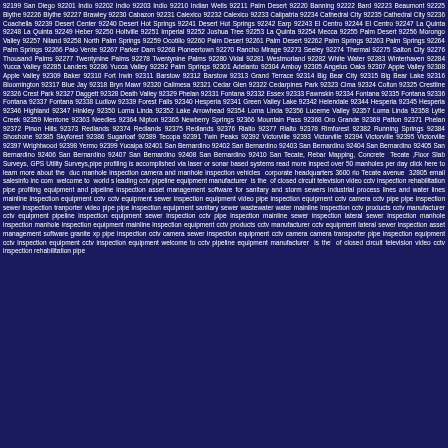92199 San Diego 92201 Indio 92202 Indio 92203 Indio 92210 Indian Wells 92211 Palm Desert 92220 Banning 92222 Bard 92223 Beaumont 92225 Blythe 92226 Blythe 92227 Brawley 92230 Cabazon 92231 Calexico 92232 Calexico 92233 Calipatria 92234 Cathedral City 92235 Cathedral City 92236 Coachella 92239 Desert Center 92240 Desert Hot Springs 92241 Desert Hot Springs 92242 Earp 92243 El Centro 92244 El Centro 92247 La Quinta 92248 La Quinta 92249 Heber 92250 Holtville 92251 Imperial 92252 Joshua Tree 92253 La Quinta 92254 Mecca 92255 Palm Desert 92256 Morongo Valley 92257 Niland 92258 North Palm Springs 92259 Ocotillo 92260 Palm Desert 92261 Palm Desert 92262 Palm Springs 92263 Palm Springs 92264 Palm Springs 92266 Palo Verde 92267 Parker Dam 92268 Pioneertown 92270 Rancho Mirage 92273 Seeley 92274 Thermal 92275 Salton City 92276 Thousand Palms 92277 Twentynine Palms 92278 Twentynine Palms 92280 Vidal 92281 Westmorland 92282 White Water 92283 Winterhaven 92284 Yucca Valley 92285 Landers 92286 Yucca Valley 92292 Palm Springs 92301 Adelanto 92304 Amboy 92305 Angelus Oaks 92307 Apple Valley 92308 Apple Valley 92309 Baker 92310 Fort Irwin 92311 Barstow 92312 Barstow 92313 Grand Terrace 92314 Big Bear City 92315 Big Bear Lake 92316 Bloomington 92317 Blue Jay 92318 Bryn Mawr 92320 Calimesa 92321 Cedar Glen 92322 Cedarpines Park 92323 Cima 92324 Colton 92325 Crestline 92326 Crest Park 92327 Daggett 92328 Death Valley 92329 Phelan 92331 Fontana 92332 Essex 92333 Fawnskin 92334 Fontana 92335 Fontana 92336 Fontana 92337 Fontana 92338 Ludlow 92339 Forest Falls 92340 Hesperia 92341 Green Valley Lake 92342 Helendale 92344 Hesperia 92345 Hesperia 92346 Highland 92347 Hinkley 92350 Loma Linda 92352 Lake Arrowhead 92354 Loma Linda 92356 Lucerne Valley 92357 Loma Linda 92358 Lytle Creek 92359 Mentone 92363 Needles 92364 Nipton 92365 Newberry Springs 92366 Mountain Pass 92368 Oro Grande 92369 Patton 92371 Phelan 92372 Pinon Hills 92373 Redlands 92374 Redlands 92375 Redlands 92376 Rialto 92377 Rialto 92378 Rimforest 92382 Running Springs 92384 Shoshone 92385 Skyforest 92386 Sugarloaf 92389 Tecopa 92391 Twin Peaks 92392 Victorville 92393 Victorville 92394 Victorville 92395 Victorville 92397 Wrightwood 92398 Yermo 92399 Yucaipa 92401 San Bernardino 92402 San Bernardino 92403 San Bernardino 92404 San Bernardino 92405 San Bernardino 92406 San Bernardino 92407 San Bernardino 92408 San Bernardino 92410 San Tecate, Rebar Mapping, Concrete Tecate ,Floor Slab Surveys, GPS Utility Surveys,pipe profiling is accomplished via laser or sonar based systems read more inspect over 50 manholes per day click here to learn more about the duc manhole inspection camera and manhole inspection vehicles corporate headquarters 3600 rio Tecate avenue 32805 email salesinfo inc com welcome to world s leading cctv pipeline equipment manufacturer is the of closed circuit television video cctv inspection rehabilitation pipe profiling equipment and pipeline inspection asset management software for sanitary and storm sewers industrial process lines and water lines mainline inspection equipment cctv cctv equipment sewer inspection equipment video pipe inspection equipment cctv camera cctv pipe pipe inspection sewer inspection tranporter video pipe pipe inspection equipment sanitary sewer wastewater water mainline inspection cctv products cctv manufacturer cctv equipment pipeline inspection equipment sewer inspection cctv pipe inspection mainline sewer inspection lateral sewer inspection manhole inspection manhole inspection equipment mainline inspection equipment cctv products cctv manufacturer cctv equipment lateral sewer inspection asset management software granite xp pipe inspection cctv camera sewer inspection equipment cctv camera camera transporter pipe inspection equipment cctv inspection equipment cctv inspection equipment welcome to cctv pipeline equipment manufacturer is the of closed circuit television video cctv inspection rehabilitation pipe